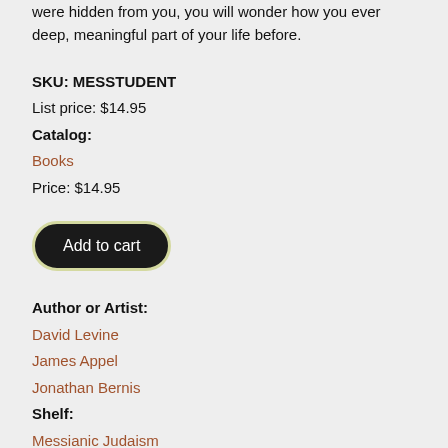were hidden from you, you will wonder how you ever lived without this deep, meaningful part of your life before.
SKU: MESSTUDENT
List price: $14.95
Catalog:
Books
Price: $14.95
Add to cart
Author or Artist:
David Levine
James Appel
Jonathan Bernis
Shelf:
Messianic Judaism
Release Date:
Monday, June 25, 2012
Log in to post comments